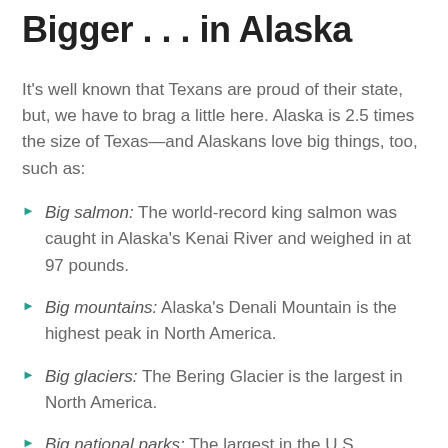Bigger . . . in Alaska
It's well known that Texans are proud of their state, but, we have to brag a little here. Alaska is 2.5 times the size of Texas—and Alaskans love big things, too, such as:
Big salmon: The world-record king salmon was caught in Alaska's Kenai River and weighed in at 97 pounds.
Big mountains: Alaska's Denali Mountain is the highest peak in North America.
Big glaciers: The Bering Glacier is the largest in North America.
Big national parks: The largest in the U.S., Wrangell–St. Elias National Park is located in